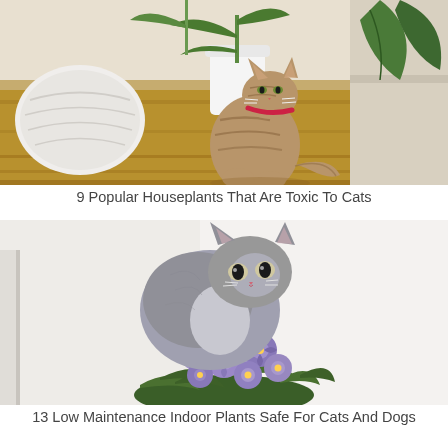[Figure (photo): Tabby cat with red collar sitting on wooden floor next to white potted houseplants and large green leafy plants against a cream wall]
9 Popular Houseplants That Are Toxic To Cats
[Figure (photo): Fluffy gray kitten sniffing a bunch of purple African violet flowers in a pot against a white background]
13 Low Maintenance Indoor Plants Safe For Cats And Dogs